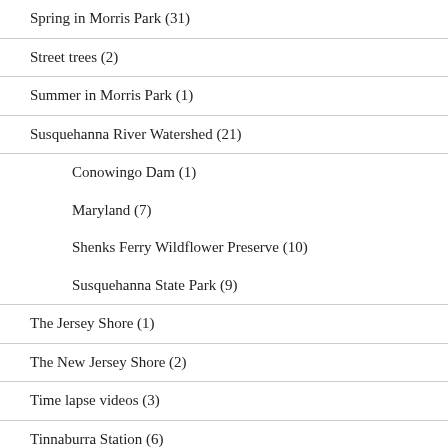Spring in Morris Park (31)
Street trees (2)
Summer in Morris Park (1)
Susquehanna River Watershed (21)
Conowingo Dam (1)
Maryland (7)
Shenks Ferry Wildflower Preserve (10)
Susquehanna State Park (9)
The Jersey Shore (1)
The New Jersey Shore (2)
Time lapse videos (3)
Tinnaburra Station (6)